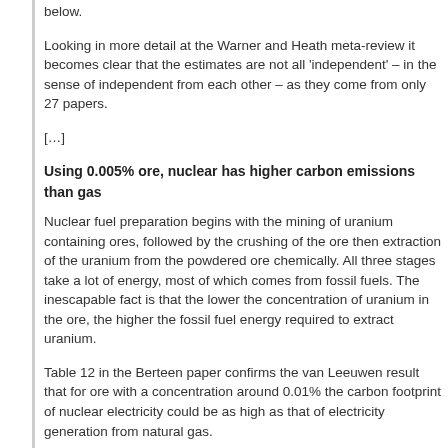below.
Looking in more detail at the Warner and Heath meta-review it becomes clear that the estimates are not all 'independent' – in the sense of independent from each other – as they come from only 27 papers.
[…]
Using 0.005% ore, nuclear has higher carbon emissions than gas
Nuclear fuel preparation begins with the mining of uranium containing ores, followed by the crushing of the ore then extraction of the uranium from the powdered ore chemically. All three stages take a lot of energy, most of which comes from fossil fuels. The inescapable fact is that the lower the concentration of uranium in the ore, the higher the fossil fuel energy required to extract uranium.
Table 12 in the Berteen paper confirms the van Leeuwen result that for ore with a concentration around 0.01% the carbon footprint of nuclear electricity could be as high as that of electricity generation from natural gas.
This remarkable observation has been further confirmed in a report from the Austrian Institute of Ecology by Andrea Wallner and co-workers. They also point out that fuel with uranium concentration around 0.01% could result in more energy being input to prepare the fuel, build the reactor and so on, than will be generated by the reactor in its lifetime.